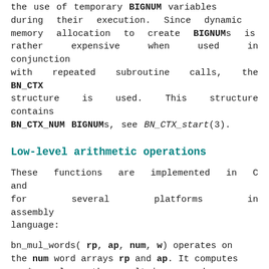the use of temporary BIGNUM variables during their execution. Since dynamic memory allocation to create BIGNUMs is rather expensive when used in conjunction with repeated subroutine calls, the BN_CTX structure is used. This structure contains BN_CTX_NUM BIGNUMs, see BN_CTX_start(3).
Low-level arithmetic operations
These functions are implemented in C and for several platforms in assembly language:
bn_mul_words( rp, ap, num, w) operates on the num word arrays rp and ap. It computes ap * w, places the result in rp, and returns the high word (carry).
bn_mul_add_words( rp, ap, num, w) operates